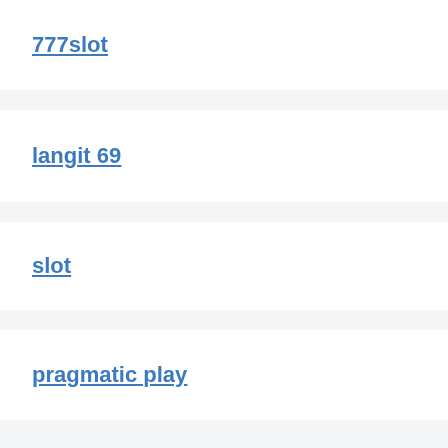777slot
langit 69
slot
pragmatic play